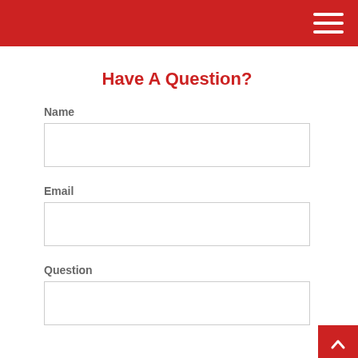Have A Question?
Name
Email
Question